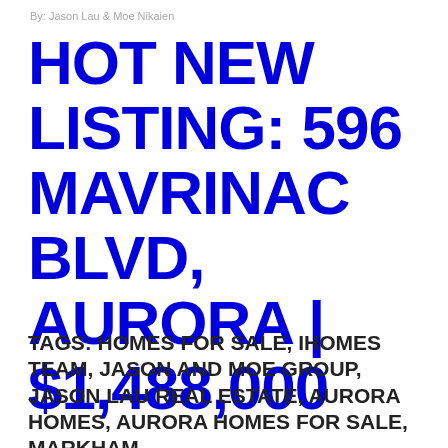By: Jason Lau & Moe Nikaien
HOT NEW LISTING: 596 MAVRINAC BLVD, AURORA | $1,488,000
TAGS: HOMES FOR SALE, IHOMES TEAM, JASON AND MOE GROUP, JASON LAU REAL ESTATE, AURORA HOMES, AURORA HOMES FOR SALE, MARKHAM